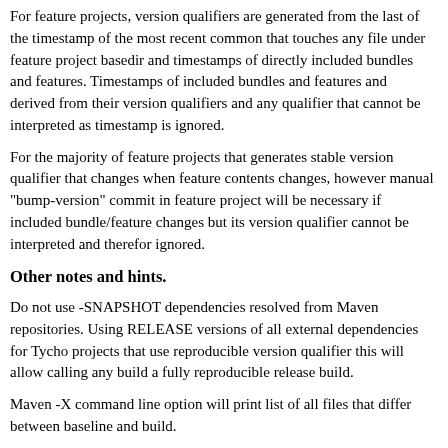For feature projects, version qualifiers are generated from the last of the timestamp of the most recent common that touches any file under feature project basedir and timestamps of directly included bundles and features. Timestamps of included bundles and features and derived from their version qualifiers and any qualifier that cannot be interpreted as timestamp is ignored.
For the majority of feature projects that generates stable version qualifier that changes when feature contents changes, however manual "bump-version" commit in feature project will be necessary if included bundle/feature changes but its version qualifier cannot be interpreted and therefor ignored.
Other notes and hints.
Do not use -SNAPSHOT dependencies resolved from Maven repositories. Using RELEASE versions of all external dependencies for Tycho projects that use reproducible version qualifier this will allow calling any build a fully reproducible release build.
Maven -X command line option will print list of all files that differ between baseline and build.
-Dtycho.debug.artifactcomparator can be used to log disassembly of